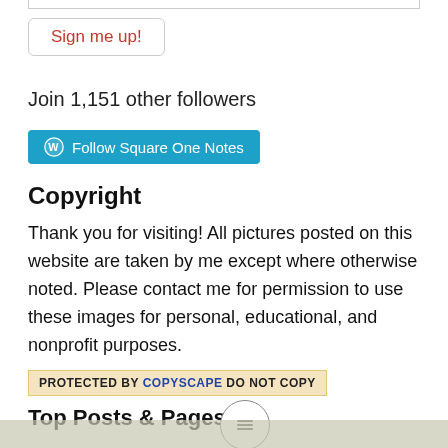[Figure (other): Top input bar (partially visible at top of page)]
Sign me up!
Join 1,151 other followers
[Figure (other): Follow Square One Notes button with WordPress logo on teal/cyan background]
Copyright
Thank you for visiting! All pictures posted on this website are taken by me except where otherwise noted. Please contact me for permission to use these images for personal, educational, and nonprofit purposes.
[Figure (other): Copyscape protected badge: PROTECTED BY COPYSCAPE DO NOT COPY]
Top Posts & Pages
[Figure (other): Hamburger menu button (three horizontal lines in a circle)]
[Figure (photo): Bottom strip showing partial photo thumbnails]